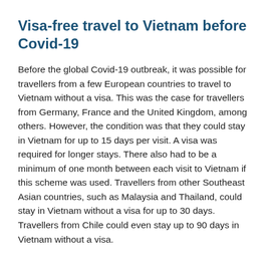Visa-free travel to Vietnam before Covid-19
Before the global Covid-19 outbreak, it was possible for travellers from a few European countries to travel to Vietnam without a visa. This was the case for travellers from Germany, France and the United Kingdom, among others. However, the condition was that they could stay in Vietnam for up to 15 days per visit. A visa was required for longer stays. There also had to be a minimum of one month between each visit to Vietnam if this scheme was used. Travellers from other Southeast Asian countries, such as Malaysia and Thailand, could stay in Vietnam without a visa for up to 30 days. Travellers from Chile could even stay up to 90 days in Vietnam without a visa.